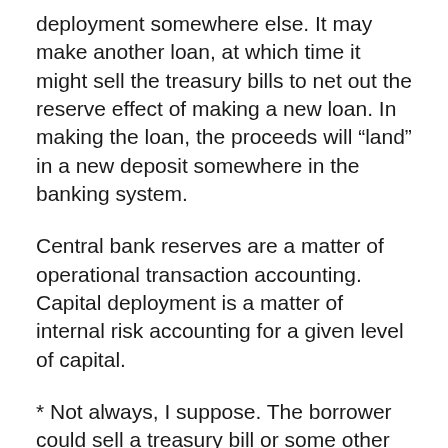deployment somewhere else. It may make another loan, at which time it might sell the treasury bills to net out the reserve effect of making a new loan. In making the loan, the proceeds will “land” in a new deposit somewhere in the banking system.
Central bank reserves are a matter of operational transaction accounting. Capital deployment is a matter of internal risk accounting for a given level of capital.
* Not always, I suppose. The borrower could sell a treasury bill or some other asset to the